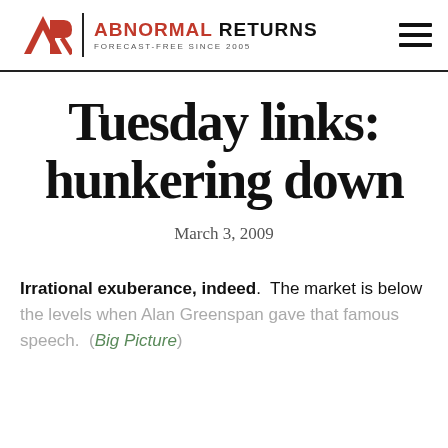ABNORMAL RETURNS — FORECAST-FREE SINCE 2005
Tuesday links: hunkering down
March 3, 2009
Irrational exuberance, indeed.  The market is below the levels when Alan Greenspan gave that famous speech.  (Big Picture)